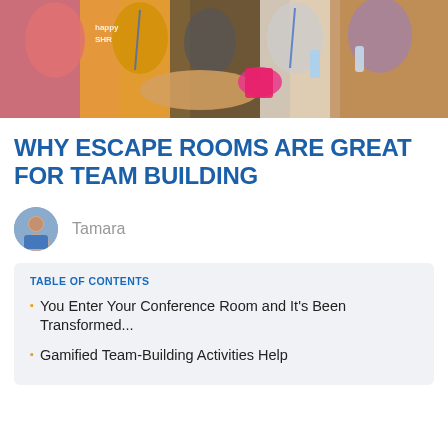[Figure (photo): Photo of people at an event, some wearing lanyards/badges, working on a puzzle or activity together. Colorful clothing including yellow, pink, and dark outfits.]
WHY ESCAPE ROOMS ARE GREAT FOR TEAM BUILDING
Tamara
TABLE OF CONTENTS
You Enter Your Conference Room and It's Been Transformed...
Gamified Team-Building Activities Help